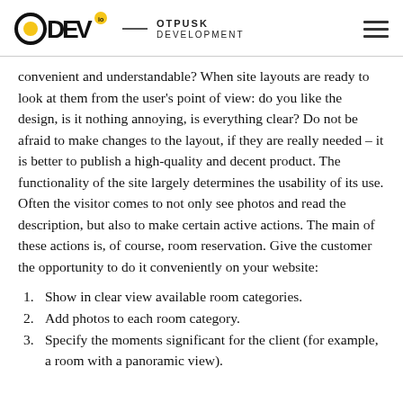ODEV.io  OTPUSK DEVELOPMENT
convenient and understandable? When site layouts are ready to look at them from the user's point of view: do you like the design, is it nothing annoying, is everything clear? Do not be afraid to make changes to the layout, if they are really needed – it is better to publish a high-quality and decent product. The functionality of the site largely determines the usability of its use. Often the visitor comes to not only see photos and read the description, but also to make certain active actions. The main of these actions is, of course, room reservation. Give the customer the opportunity to do it conveniently on your website:
Show in clear view available room categories.
Add photos to each room category.
Specify the moments significant for the client (for example, a room with a panoramic view).